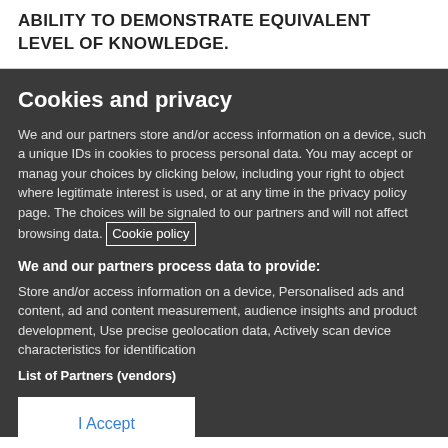ABILITY TO DEMONSTRATE EQUIVALENT LEVEL OF KNOWLEDGE.
Cookies and privacy
We and our partners store and/or access information on a device, such a unique IDs in cookies to process personal data. You may accept or manag your choices by clicking below, including your right to object where legitimate interest is used, or at any time in the privacy policy page. The choices will be signaled to our partners and will not affect browsing data. Cookie policy
We and our partners process data to provide:
Store and/or access information on a device, Personalised ads and content, ad and content measurement, audience insights and product development, Use precise geolocation data, Actively scan device characteristics for identification
List of Partners (vendors)
I Accept